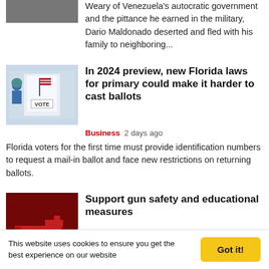Weary of Venezuela's autocratic government and the pittance he earned in the military, Dario Maldonado deserted and fled with his family to neighboring...
In 2024 preview, new Florida laws for primary could make it harder to cast ballots
Business  2 days ago
Florida voters for the first time must provide identification numbers to request a mail-in ballot and face new restrictions on returning ballots.
Support gun safety and educational measures
US  2 days ago
This website uses cookies to ensure you get the best experience on our website